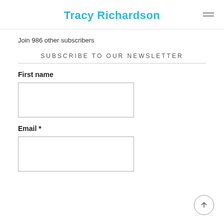Tracy Richardson
Join 986 other subscribers
SUBSCRIBE TO OUR NEWSLETTER
First name
Email *